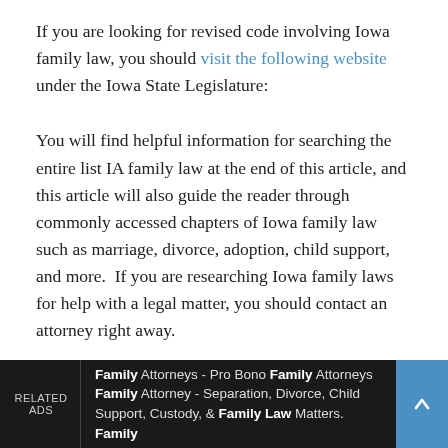If you are looking for revised code involving Iowa family law, you should visit the following website under the Iowa State Legislature:
You will find helpful information for searching the entire list IA family law at the end of this article, and this article will also guide the reader through commonly accessed chapters of Iowa family law such as marriage, divorce, adoption, child support, and more.  If you are researching Iowa family laws for help with a legal matter, you should contact an attorney right away.
RELATED ADS | Family Attorneys - Pro Bono Family Attorneys Family Attorney - Separation, Divorce, Child Support, Custody, & Family Law Matters. Family